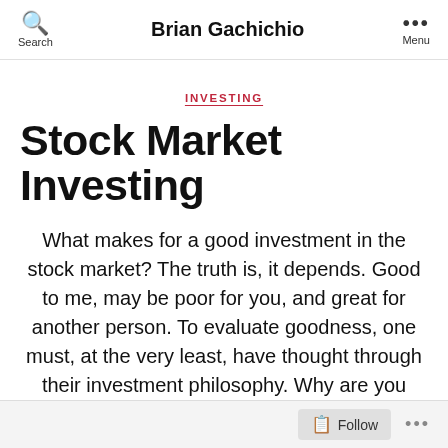Brian Gachichio
INVESTING
Stock Market Investing
What makes for a good investment in the stock market? The truth is, it depends. Good to me, may be poor for you, and great for another person. To evaluate goodness, one must, at the very least, have thought through their investment philosophy. Why are you investing? What are you looking for?
Follow